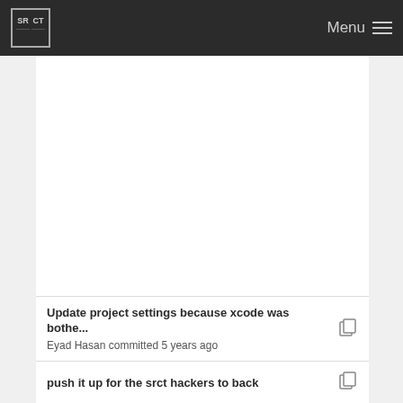SRCT Menu
[Figure (screenshot): White content area with light gray sidebar background, appears to be a repository or project page content area, mostly blank white space]
Update project settings because xcode was bothe...
Eyad Hasan committed 5 years ago
push it up for the srct hackers to back